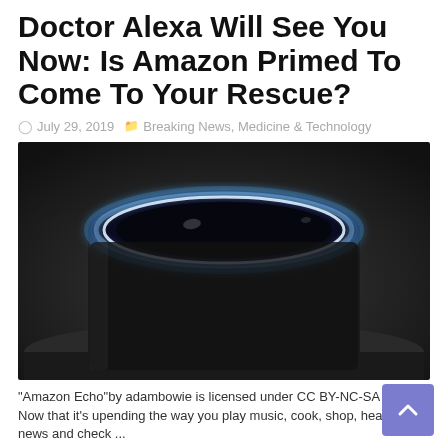Doctor Alexa Will See You Now: Is Amazon Primed To Come To Your Rescue?
July 29, 2019   Breaking News, Medicine & Technology
[Figure (photo): Close-up photo of an Amazon Echo device with a glowing blue ring on top, set against a dark background.]
"Amazon Echo"by adambowie is licensed under CC BY-NC-SA 2.0 Now that it's upending the way you play music, cook, shop, hear the news and check ...